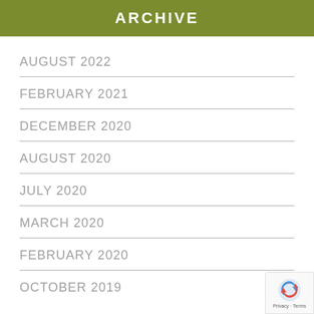ARCHIVE
AUGUST 2022
FEBRUARY 2021
DECEMBER 2020
AUGUST 2020
JULY 2020
MARCH 2020
FEBRUARY 2020
OCTOBER 2019